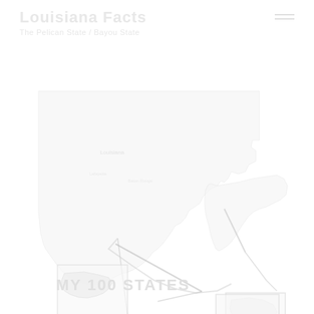Louisiana Facts
The Pelican State / Bayou State
[Figure (map): Outline map of Louisiana state showing its distinctive shape with the boot-like Mississippi River delta region. Features include labeled regions, cities, and geographic features rendered in very light gray/white tones on white background. Two inset boxes show zoomed details of specific regions.]
MY 100 STATES